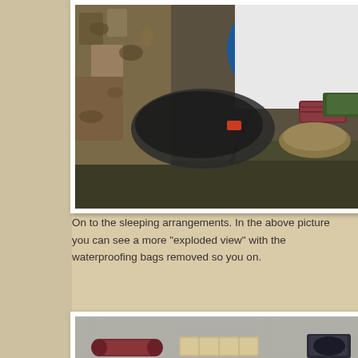[Figure (photo): Close-up photo of packed backpack contents including a blue hydration bladder/reservoir with tube, military camouflage backpack, dark clothing in plastic bag with red tag, maroon/dark red rolled items, and other gear items on a dark surface.]
On to the sleeping arrangements. In the above picture you can see a more "exploded view" with the waterproofing bags removed so you on.
[Figure (photo): Photo of sleeping gear items laid out on a gray carpet, including maroon/dark red rolled items, light tan/beige bundled item, and dark colored gear items.]